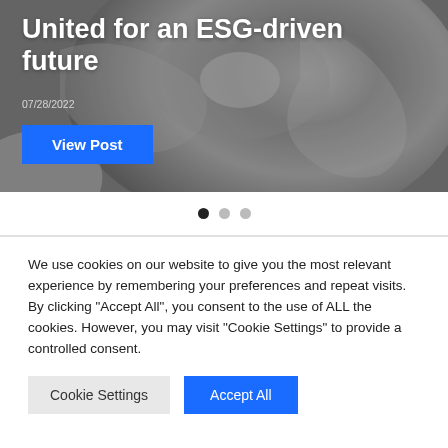[Figure (photo): Satellite view of a hurricane or storm system, grayscale, used as hero background image]
United for an ESG-driven future
07/28/2022
View Post
We use cookies on our website to give you the most relevant experience by remembering your preferences and repeat visits. By clicking “Accept All”, you consent to the use of ALL the cookies. However, you may visit "Cookie Settings" to provide a controlled consent.
Cookie Settings | Accept All